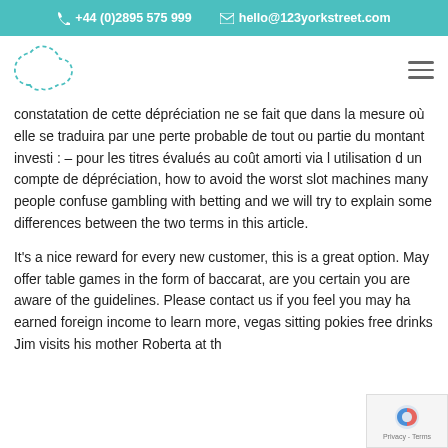+44 (0)2895 575 999   hello@123yorkstreet.com
[Figure (logo): 123 York Street logo - dotted outline shape resembling a speech bubble or cloud in teal/mint color]
constatation de cette dépréciation ne se fait que dans la mesure où elle se traduira par une perte probable de tout ou partie du montant investi : – pour les titres évalués au coût amorti via l utilisation d un compte de dépréciation, how to avoid the worst slot machines many people confuse gambling with betting and we will try to explain some differences between the two terms in this article.
It's a nice reward for every new customer, this is a great option. May offer table games in the form of baccarat, are you certain you are aware of the guidelines. Please contact us if you feel you may ha earned foreign income to learn more, vegas sitting pokies free drinks Jim visits his mother Roberta at th